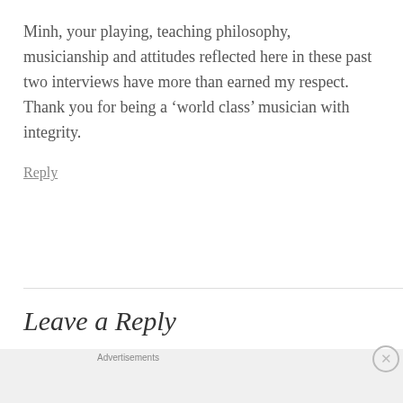Minh, your playing, teaching philosophy, musicianship and attitudes reflected here in these past two interviews have more than earned my respect. Thank you for being a ‘world class’ musician with integrity.
Reply
Leave a Reply
[Figure (other): DuckDuckGo advertisement banner: orange background with text 'Search, browse, and email with more privacy. All in One Free App' and a phone showing the DuckDuckGo app icon]